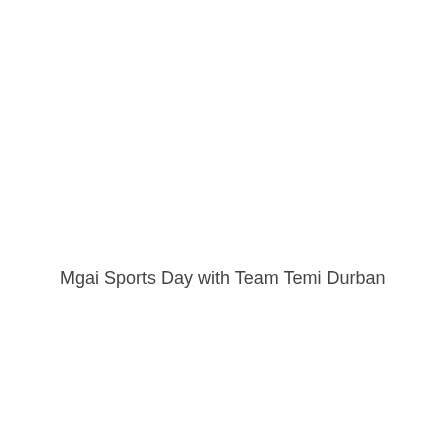Mgai Sports Day with Team Temi Durban